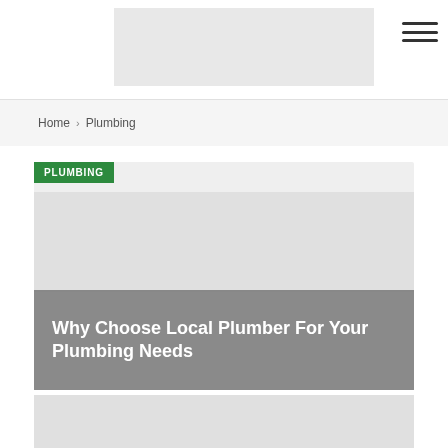Header with logo and navigation menu
Home > Plumbing
[Figure (screenshot): Article card with green PLUMBING tag and gray image placeholder area]
Why Choose Local Plumber For Your Plumbing Needs
[Figure (screenshot): Article card with gray image placeholder area]
Plumbing Services Around Fort